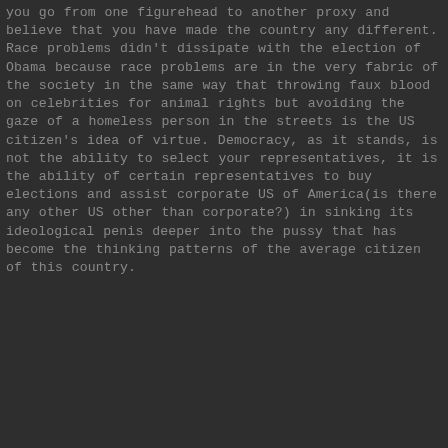you go from one figurehead to another proxy and believe that you have made the country any different. Race problems didn't dissipate with the election of Obama because race problems are in the very fabric of the society in the same way that throwing faux blood on celebrities for animal rights but avoiding the gaze of a homeless person in the streets is the US citizen's idea of virtue. Democracy, as it stands, is not the ability to select your representatives, it is the ability of certain representatives to buy elections and assist corporate US of America(is there any other US other than corporate?) in sinking its ideological penis deeper into the pussy that has become the thinking patterns of the average citizen of this country.